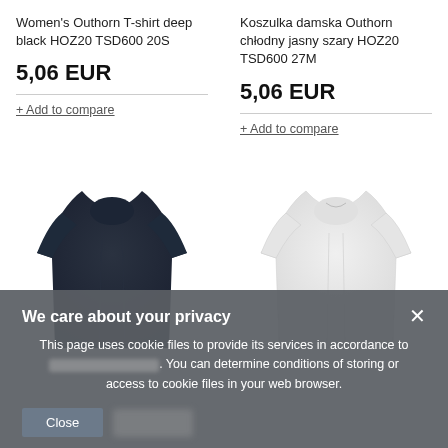Women's Outhorn T-shirt deep black HOZ20 TSD600 20S
Koszulka damska Outhorn chłodny jasny szary HOZ20 TSD600 27M
5,06 EUR
5,06 EUR
+ Add to compare
+ Add to compare
[Figure (photo): Navy/dark blue women's T-shirt on mannequin]
[Figure (photo): White/light grey women's T-shirt on mannequin]
We care about your privacy
This page uses cookie files to provide its services in accordance to . You can determine conditions of storing or access to cookie files in your web browser.
Close